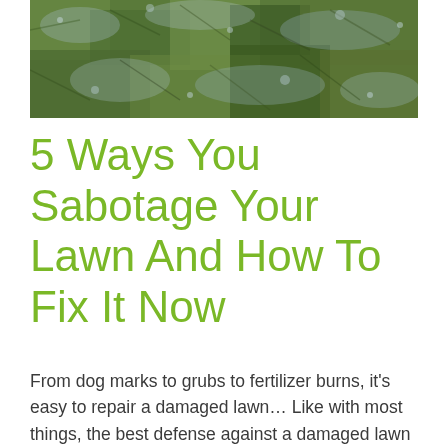[Figure (photo): Close-up photo of a patchy, frost-covered or damaged grass lawn, showing a mix of green and grayish-blue tones.]
5 Ways You Sabotage Your Lawn And How To Fix It Now
From dog marks to grubs to fertilizer burns, it's easy to repair a damaged lawn… Like with most things, the best defense against a damaged lawn is prevention, but